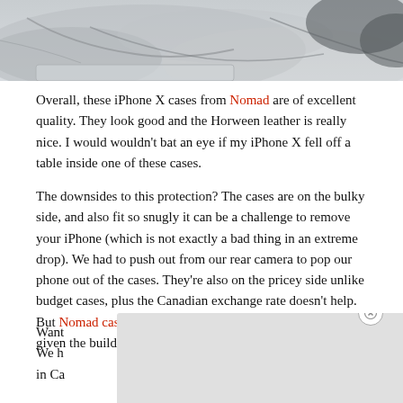[Figure (photo): Partial photograph of an iPhone in a Nomad case on a marble surface, showing only the bottom portion of the image.]
Overall, these iPhone X cases from Nomad are of excellent quality. They look good and the Horween leather is really nice. I would wouldn't bat an eye if my iPhone X fell off a table inside one of these cases.
The downsides to this protection? The cases are on the bulky side, and also fit so snugly it can be a challenge to remove your iPhone (which is not exactly a bad thing in an extreme drop). We had to push out from our rear camera to pop our phone out of the cases. They're also on the pricey side unlike budget cases, plus the Canadian exchange rate doesn't help. But Nomad cases are well made and definitely will last, given the build quality.
Want [obscured by popup] e? We ha[obscured] Phone in Ca[obscured] lust